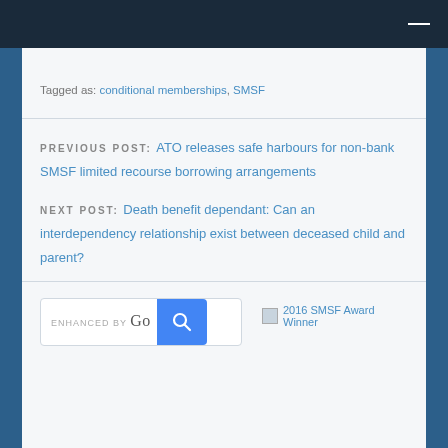Navigation bar
Tagged as: conditional memberships, SMSF
PREVIOUS POST: ATO releases safe harbours for non-bank SMSF limited recourse borrowing arrangements
NEXT POST: Death benefit dependant: Can an interdependency relationship exist between deceased child and parent?
[Figure (screenshot): Search box enhanced by Google, with blue search button containing magnifying glass icon]
[Figure (other): 2016 SMSF Award Winner badge/image]